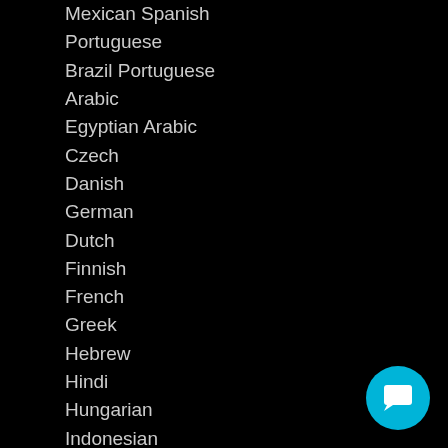Mexican Spanish
Portuguese
Brazil Portuguese
Arabic
Egyptian Arabic
Czech
Danish
German
Dutch
Finnish
French
Greek
Hebrew
Hindi
Hungarian
Indonesian
Italian
Japanese
Korean
Norwegian
Polish
Romanian
Slovak
[Figure (illustration): Cyan circular chat/message button icon in the bottom right corner]